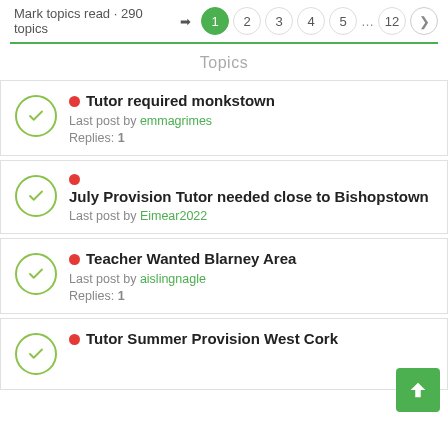Mark topics read · 290 topics | 1 2 3 4 5 ... 12 >
Topics
Tutor required monkstown
Last post by emmagrimes
Replies: 1
July Provision Tutor needed close to Bishopstown
Last post by Eimear2022
Teacher Wanted Blarney Area
Last post by aislingnagle
Replies: 1
Tutor Summer Provision West Cork